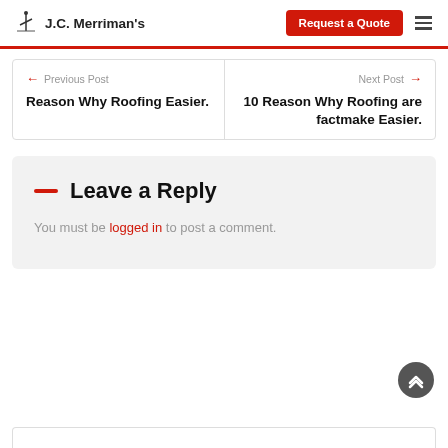J.C. Merriman's — Request a Quote
← Previous Post
Reason Why Roofing Easier.
Next Post →
10 Reason Why Roofing are factmake Easier.
Leave a Reply
You must be logged in to post a comment.